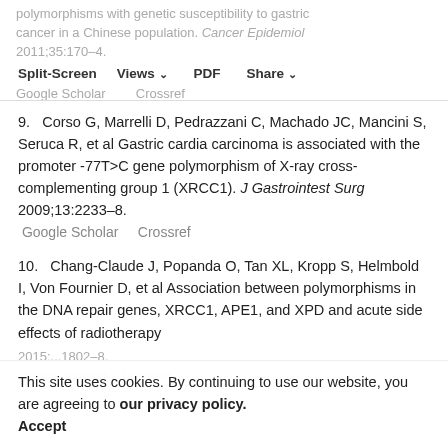polymorphisms with genetic susceptibility to gastric cancer in a Chinese population. Cancer Epidemiol 2011;35:170–4. [Google Scholar] [Crossref]
Split-Screen | Views | PDF | Share | Tools | Search Site | Versions
9.  Corso G, Marrelli D, Pedrazzani C, Machado JC, Mancini S, Seruca R, et al Gastric cardia carcinoma is associated with the promoter -77T>C gene polymorphism of X-ray cross-complementing group 1 (XRCC1). J Gastrointest Surg 2009;13:2233–8. Google Scholar  Crossref
10.  Chang-Claude J, Popanda O, Tan XL, Kropp S, Helmbold I, Von Fournier D, et al Association between polymorphisms in the DNA repair genes, XRCC1, APE1, and XPD and acute side effects of radiotherapy
This site uses cookies. By continuing to use our website, you are agreeing to our privacy policy. Accept